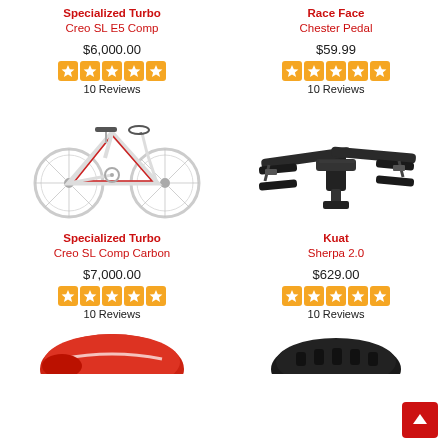Specialized Turbo Creo SL E5 Comp
$6,000.00
10 Reviews
Race Face Chester Pedal
$59.99
10 Reviews
[Figure (photo): White Specialized Turbo Creo SL E5 Comp electric road bicycle with red accents]
[Figure (photo): Black Kuat Sherpa 2.0 hitch bike rack with platform arms]
Specialized Turbo Creo SL Comp Carbon
$7,000.00
10 Reviews
Kuat Sherpa 2.0
$629.00
10 Reviews
[Figure (photo): Partial view of red cycling shoe or helmet at bottom of page]
[Figure (photo): Partial view of black cycling helmet at bottom of page]